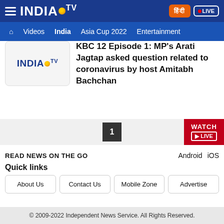INDIA TV — Navigation: Videos, India, Asia Cup 2022, Entertainment
KBC 12 Episode 1: MP's Arati Jagtap asked question related to coronavirus by host Amitabh Bachchan
1
READ NEWS ON THE GO   Android   iOS
Quick links
About Us
Contact Us
Mobile Zone
Advertise
© 2009-2022 Independent News Service. All Rights Reserved.